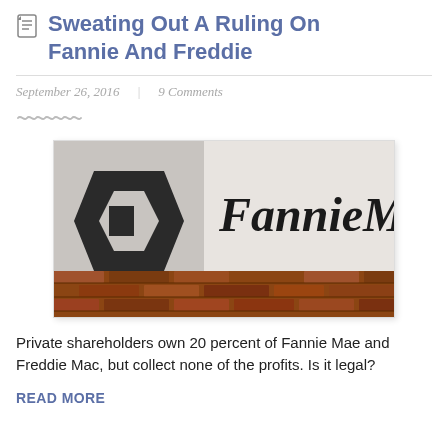Sweating Out A Ruling On Fannie And Freddie
September 26, 2016  |  9 Comments
[Figure (photo): Fannie Mae building sign photo showing the FannieMae logo on a wall with brick border]
Private shareholders own 20 percent of Fannie Mae and Freddie Mac, but collect none of the profits. Is it legal?
READ MORE